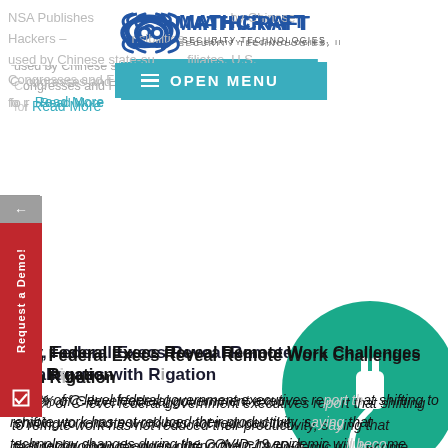[Figure (logo): Mathcraft Security Technologies, Inc. logo with eye icon]
[Figure (screenshot): Teal Open Menu button with hamburger icon]
NSA Publishes... Read More
In Survey, Federal Execs Reveal Remote Work Challenges with Risk Mitigation
84% of C-level federal government executives report that shifting to remote work has not reduced their productivity, saying that technology changes during the COVID-19 epidemic will become permanent ways of conducting business. Read More
[Figure (logo): LinkedIn icon (in blue)]
[Figure (logo): Facebook icon in blue box]
[Figure (illustration): Teal circle with white plug/connector icon at bottom of page]